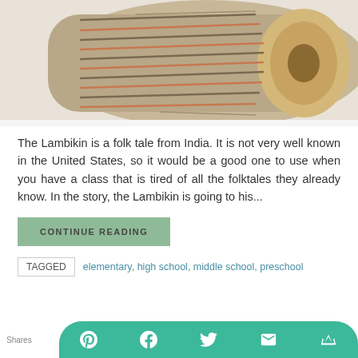[Figure (photo): Close-up photograph of a tabla (Indian drum) showing the drum head and lacing against a white background]
The Lambikin is a folk tale from India. It is not very well known in the United States, so it would be a good one to use when you have a class that is tired of all the folktales they already know. In the story, the Lambikin is going to his...
CONTINUE READING
TAGGED  elementary, high school, middle school, preschool
Shares [social share icons: Pinterest, Facebook, Twitter, Email, Crown]